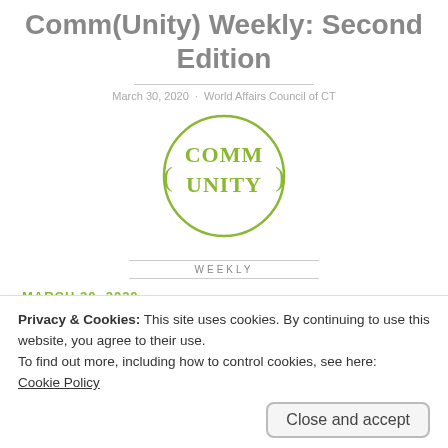Comm(Unity) Weekly: Second Edition
March 30, 2020 · World Affairs Council of CT
[Figure (logo): Comm(Unity) Weekly circular logo in olive/lime green, with COMM on top and UNITY on bottom inside a circle, with 'WEEKLY' text below between two horizontal lines.]
MARCH 30, 2020
In this edition of Comm(Unity), we've got
Privacy & Cookies: This site uses cookies. By continuing to use this website, you agree to their use.
To find out more, including how to control cookies, see here:
Cookie Policy
Close and accept